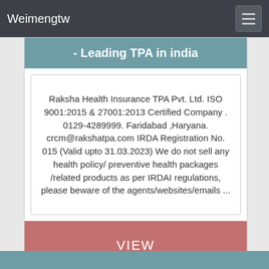Weimengtw
- Leading TPA in india
Raksha Health Insurance TPA Pvt. Ltd. ISO 9001:2015 & 27001:2013 Certified Company . 0129-4289999. Faridabad ,Haryana. crcm@rakshatpa.com IRDA Registration No. 015 (Valid upto 31.03.2023) We do not sell any health policy/ preventive health packages /related products as per IRDAI regulations, please beware of the agents/websites/emails ...
VIEW